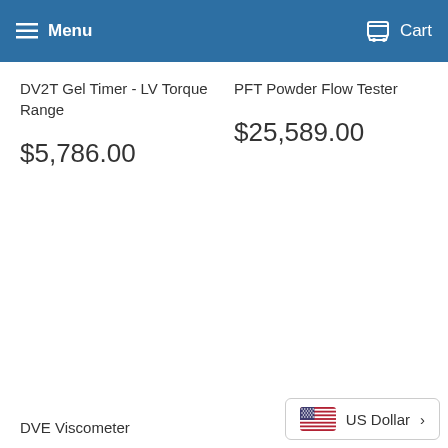Menu   Cart
DV2T Gel Timer - LV Torque Range
$5,786.00
PFT Powder Flow Tester
$25,589.00
DVE Viscometer
US Dollar